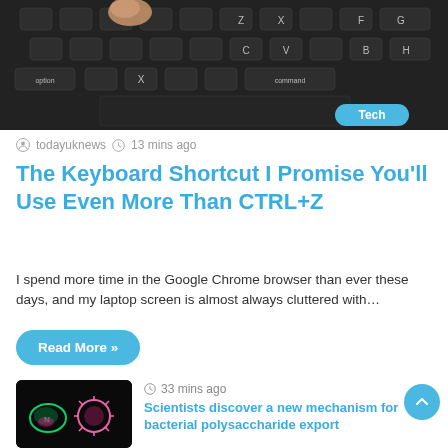[Figure (photo): Close-up photo of a laptop keyboard (Mac-style) with dark keys, showing keys like Z, X, C, V, F, G, H, option, command, B. A finger is partially visible pressing a key. A 'Tech' badge label is overlaid in the bottom-right corner of the image.]
todayuknews  13 mins ago
The Keyboard Shortcut I Promise You'll Use Even More Than CTRL+Z
I spend more time in the Google Chrome browser than ever these days, and my laptop screen is almost always cluttered with…
Read More »
[Figure (photo): Dark thumbnail showing fluorescent microscopy image of bacteria/viral particles in green and pink/red colors on a black background.]
33 mins ago
Scientists discover a new mechanism for bacterial polysaccharide export
[Figure (photo): Thumbnail photo of a NASA rocket on a launch pad with gantry structure, under a partly cloudy sky.]
53 mins ago
NASA chief reflects on Monday's scrubbed rocket launch | Digital Trends